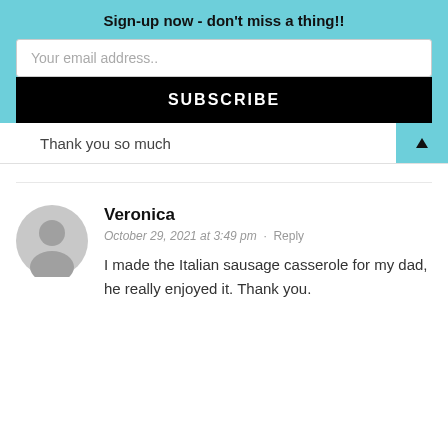Sign-up now - don't miss a thing!!
Your email address..
SUBSCRIBE
Thank you so much
Veronica
October 29, 2021 at 3:49 pm · Reply
I made the Italian sausage casserole for my dad, he really enjoyed it. Thank you.